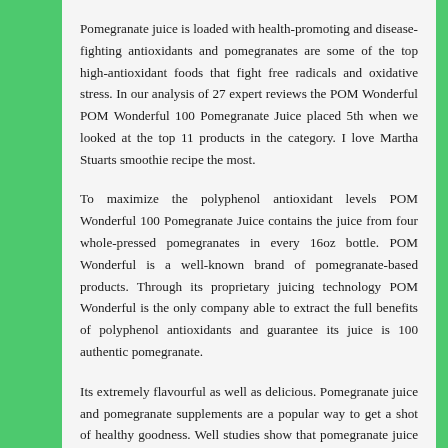Pomegranate juice is loaded with health-promoting and disease-fighting antioxidants and pomegranates are some of the top high-antioxidant foods that fight free radicals and oxidative stress. In our analysis of 27 expert reviews the POM Wonderful POM Wonderful 100 Pomegranate Juice placed 5th when we looked at the top 11 products in the category. I love Martha Stuarts smoothie recipe the most.
To maximize the polyphenol antioxidant levels POM Wonderful 100 Pomegranate Juice contains the juice from four whole-pressed pomegranates in every 16oz bottle. POM Wonderful is a well-known brand of pomegranate-based products. Through its proprietary juicing technology POM Wonderful is the only company able to extract the full benefits of polyphenol antioxidants and guarantee its juice is 100 authentic pomegranate.
Its extremely flavourful as well as delicious. Pomegranate juice and pomegranate supplements are a popular way to get a shot of healthy goodness. Well studies show that pomegranate juice contains a wide range of health benefits.
Benefits of Pomegranate Here are some of the potential benefits of